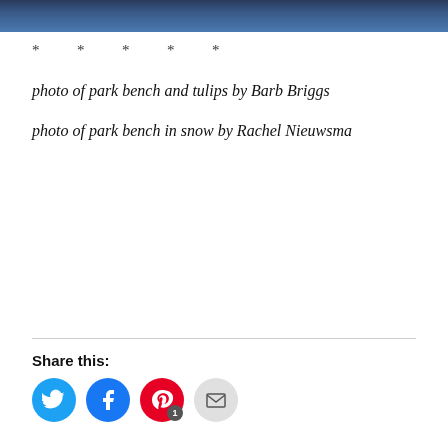[Figure (photo): Cropped bottom portion of a photo with dark blue tones, appears to be an outdoor scene]
*          *          *          *          *
photo of park bench and tulips by Barb Briggs
photo of park bench in snow by Rachel Nieuwsma
Share this:
[Figure (infographic): Social sharing icons: Twitter (blue circle), Facebook (blue circle), Pinterest (red circle with badge showing 1), Email (grey circle)]